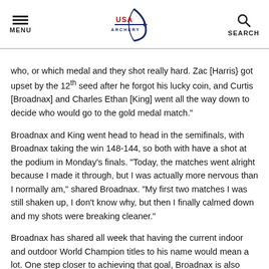MENU | USA Archery Logo | SEARCH
who, or which medal and they shot really hard. Zac [Harris} got upset by the 12th seed after he forgot his lucky coin, and Curtis [Broadnax] and Charles Ethan [King] went all the way down to decide who would go to the gold medal match."
Broadnax and King went head to head in the semifinals, with Broadnax taking the win 148-144, so both with have a shot at the podium in Monday's finals. "Today, the matches went alright because I made it through, but I was actually more nervous than I normally am," shared Broadnax. "My first two matches I was still shaken up, I don't know why, but then I finally calmed down and my shots were breaking cleaner."
Broadnax has shared all week that having the current indoor and outdoor World Champion titles to his name would mean a lot. One step closer to achieving that goal, Broadnax is also focused on team gold and the team elimination matches tomorrow. "Our team is very strong. Yesterday in qualification we were ahead 14 points, so I feel very